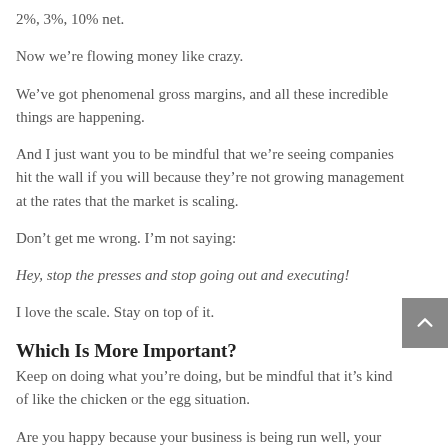2%, 3%, 10% net.
Now we're flowing money like crazy.
We've got phenomenal gross margins, and all these incredible things are happening.
And I just want you to be mindful that we're seeing companies hit the wall if you will because they're not growing management at the rates that the market is scaling.
Don't get me wrong. I'm not saying:
Hey, stop the presses and stop going out and executing!
I love the scale. Stay on top of it.
Which Is More Important?
Keep on doing what you're doing, but be mindful that it's kind of like the chicken or the egg situation.
Are you happy because your business is being run well, your team is working together, and everyone is executing at their